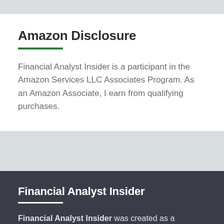Amazon Disclosure
Financial Analyst Insider is a participant in the Amazon Services LLC Associates Program. As an Amazon Associate, I earn from qualifying purchases.
Financial Analyst Insider
Financial Analyst Insider was created as a resource for